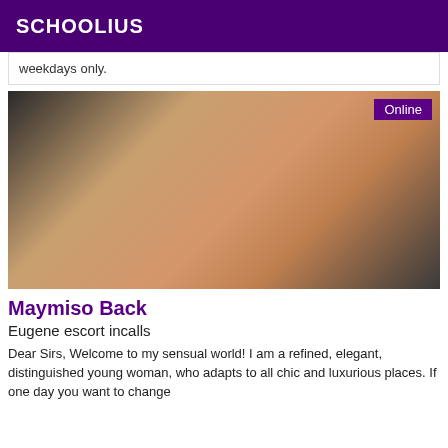SCHOOLIUS
weekdays only.
[Figure (photo): Person taking a mirror selfie wearing a white strappy swimsuit, showing back view, with a butterfly tattoo visible. An 'Online' badge appears in the top right corner.]
Maymiso Back
Eugene escort incalls
Dear Sirs, Welcome to my sensual world! I am a refined, elegant, distinguished young woman, who adapts to all chic and luxurious places. If one day you want to change